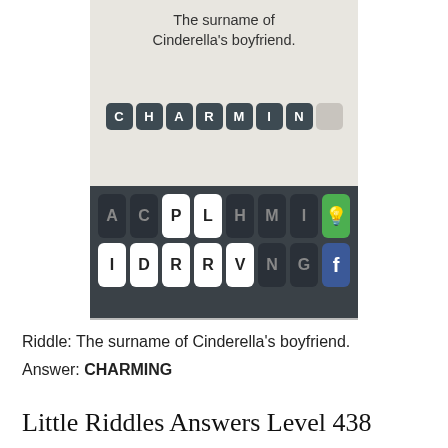[Figure (screenshot): Mobile game screenshot showing a word puzzle. At the top: riddle text 'The surname of Cinderella's boyfriend.' Below are letter tiles spelling CHARMIN with one empty tile. A keyboard section shows two rows of letter keys: A C P L H M I (with green lightbulb hint key) and I D R R V N G (with blue Facebook key).]
Riddle: The surname of Cinderella's boyfriend.
Answer: CHARMING
Little Riddles Answers Level 438